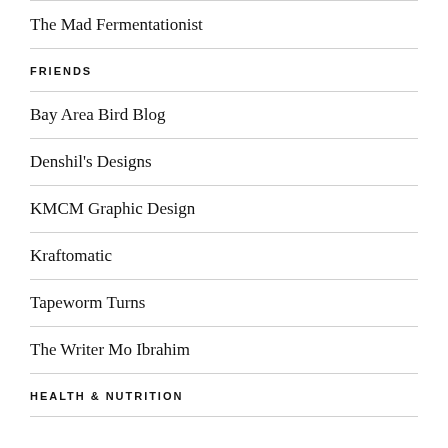The Mad Fermentationist
FRIENDS
Bay Area Bird Blog
Denshil's Designs
KMCM Graphic Design
Kraftomatic
Tapeworm Turns
The Writer Mo Ibrahim
HEALTH & NUTRITION